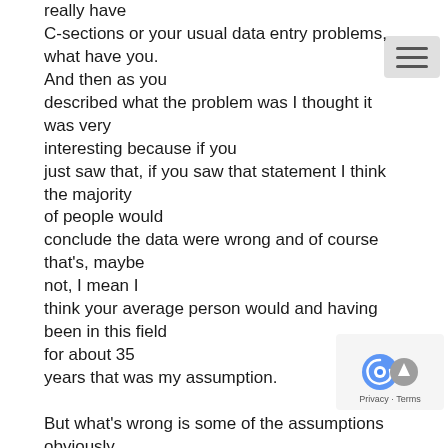really have
C-sections or your usual data entry problems, what have you.
And then as you
described what the problem was I thought it was very
interesting because if you
just saw that, if you saw that statement I think the majority
of people would
conclude the data were wrong and of course that's, maybe
not, I mean I
think your average person would and having been in this field
for about 35
years that was my assumption.

But what's wrong is some of the assumptions obviously
which is again
you're right, they weren't care delivery problems, but w...
says
something about, and I'd just like your reaction to sort of the